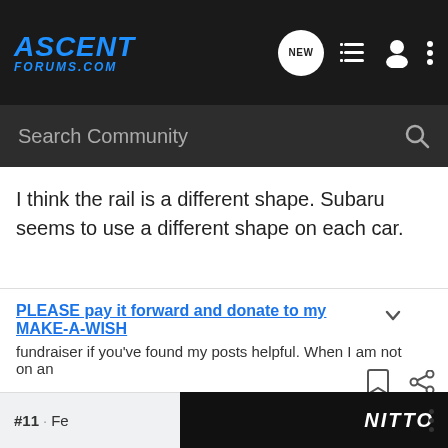ASCENT FORUMS.COM
Search Community
I think the rail is a different shape. Subaru seems to use a different shape on each car.
PLEASE pay it forward and donate to my MAKE-A-WISH fundraiser if you've found my posts helpful. When I am not on an
Pluckito1111 · Registered 🇺🇸
2021 Ascent Premium White (NEW!! ☺) 2015 Legacy 3.6R White (Former ☹) 2006 Subaru Impreza (Former)
Joined Jun 1, 2021 · 113 Posts
#11 · Fe